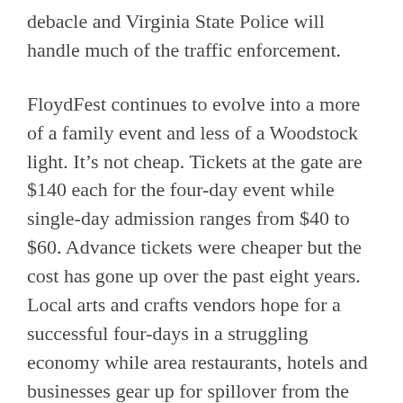debacle and Virginia State Police will handle much of the traffic enforcement.
FloydFest continues to evolve into a more of a family event and less of a Woodstock light. It’s not cheap. Tickets at the gate are $140 each for the four-day event while single-day admission ranges from $40 to $60. Advance tickets were cheaper but the cost has gone up over the past eight years. Local arts and crafts vendors hope for a successful four-days in a struggling economy while area restaurants, hotels and businesses gear up for spillover from the event.